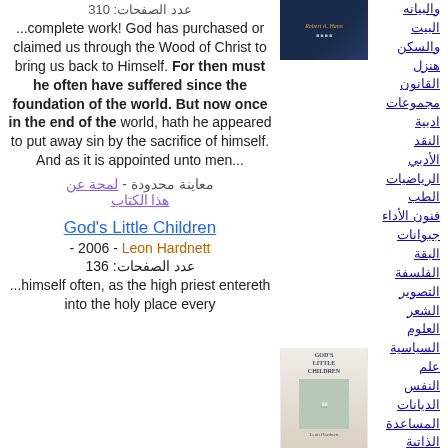عدد الصفحات: 310
...complete work! God has purchased or claimed us through the Wood of Christ to bring us back to Himself. For then must he often have suffered since the foundation of the world. But now once in the end of the world, hath he appeared to put away sin by the sacrifice of himself. And as it is appointed unto men...
معاينة محدودة - لمحة عن هذا الكتاب
[Figure (photo): Book cover - dark blue with author name Robert A. Hann]
والبيانه
البيت
والسكن
هنزل
القانون
مجموعات ادبية
النقد الأدبي
الرياضيات
الطب
فنون الأداء
جبوانات البقة
الفلسفة
التصوير
الشعر
العلوم السياسية
علم النفس
الديانات
المساعدة الذاتية
God's Little Children
- 2006 - Leon Hardnett
عدد الصفحات: 136
...himself often, as the high priest entereth into the holy place every
[Figure (photo): Book cover - God's Little Children by Leon Hardnett, light colored cover with child image]